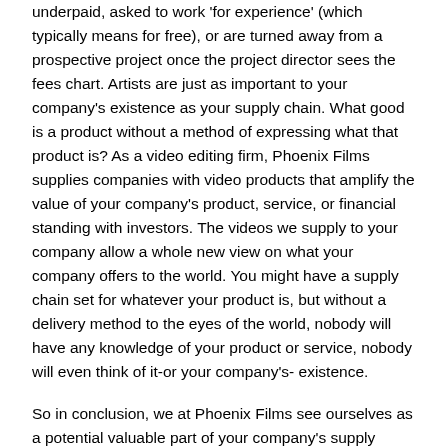underpaid, asked to work 'for experience' (which typically means for free), or are turned away from a prospective project once the project director sees the fees chart. Artists are just as important to your company's existence as your supply chain. What good is a product without a method of expressing what that product is? As a video editing firm, Phoenix Films supplies companies with video products that amplify the value of your company's product, service, or financial standing with investors. The videos we supply to your company allow a whole new view on what your company offers to the world. You might have a supply chain set for whatever your product is, but without a delivery method to the eyes of the world, nobody will have any knowledge of your product or service, nobody will even think of it-or your company's- existence.
So in conclusion, we at Phoenix Films see ourselves as a potential valuable part of your company's supply chain